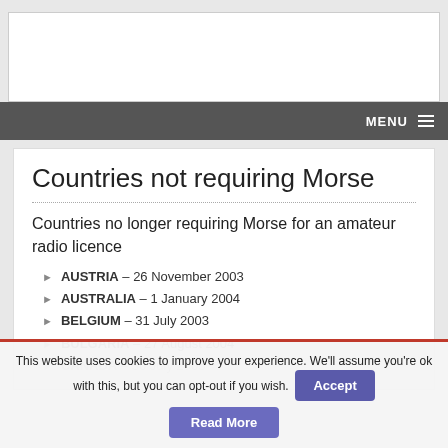[Figure (screenshot): White header box at top of webpage]
MENU ≡
Countries not requiring Morse
Countries no longer requiring Morse for an amateur radio licence
AUSTRIA – 26 November 2003
AUSTRALIA – 1 January 2004
BELGIUM – 31 July 2003
BULGARIA – 27 August 2004
CANADA – 30 July 2005
This website uses cookies to improve your experience. We'll assume you're ok with this, but you can opt-out if you wish. Accept Read More